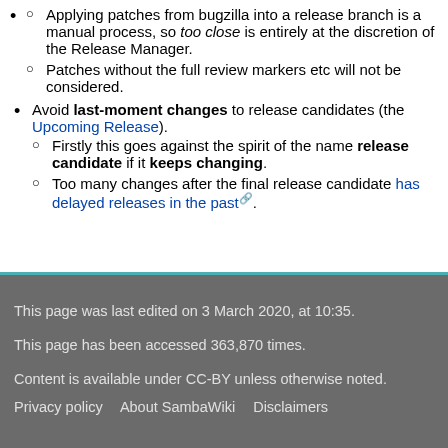Applying patches from bugzilla into a release branch is a manual process, so too close is entirely at the discretion of the Release Manager.
Patches without the full review markers etc will not be considered.
Avoid last-moment changes to release candidates (the Upcoming Release).
Firstly this goes against the spirit of the name release candidate if it keeps changing.
Too many changes after the final release candidate has delayed releases in the past.
This page was last edited on 3 March 2020, at 10:35.
This page has been accessed 363,870 times.
Content is available under CC-BY unless otherwise noted.
Privacy policy   About SambaWiki   Disclaimers